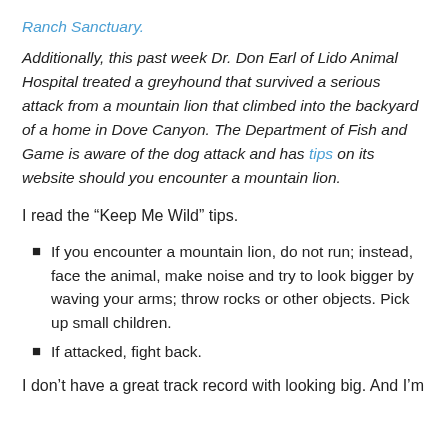Ranch Sanctuary.
Additionally, this past week Dr. Don Earl of Lido Animal Hospital treated a greyhound that survived a serious attack from a mountain lion that climbed into the backyard of a home in Dove Canyon. The Department of Fish and Game is aware of the dog attack and has tips on its website should you encounter a mountain lion.
I read the “Keep Me Wild” tips.
If you encounter a mountain lion, do not run; instead, face the animal, make noise and try to look bigger by waving your arms; throw rocks or other objects. Pick up small children.
If attacked, fight back.
I don’t have a great track record with looking big. And I’m